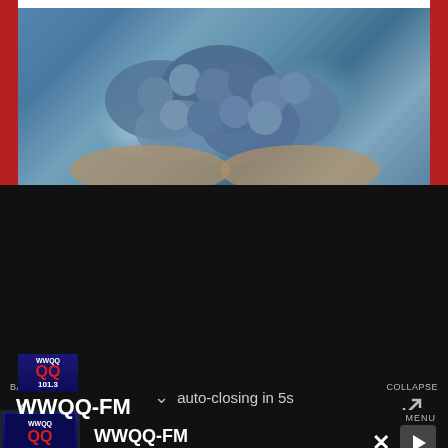[Figure (photo): Hands holding blue-colored grapes or berries, with red borders on sides]
auto-closing in 5s
BACK
COLLAPSE
PLAYLIST
TOP HITS
LISTEN LIVE
MY VOTES
CONTROLS
Data opt-out
WWQQ-FM
WWQQ-FM
MENU